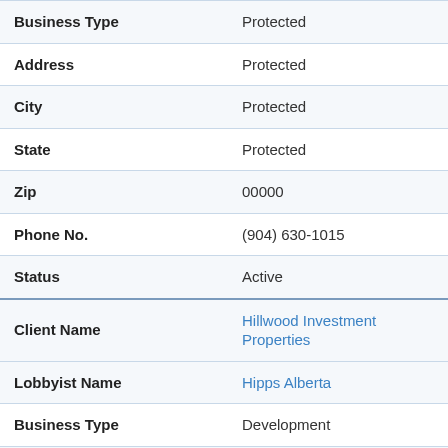| Field | Value |
| --- | --- |
| Business Type | Protected |
| Address | Protected |
| City | Protected |
| State | Protected |
| Zip | 00000 |
| Phone No. | (904) 630-1015 |
| Status | Active |
| Client Name | Hillwood Investment Properties |
| Lobbyist Name | Hipps Alberta |
| Business Type | Development |
| Address | 3090 Olive St, Suite 300 |
| City | … |